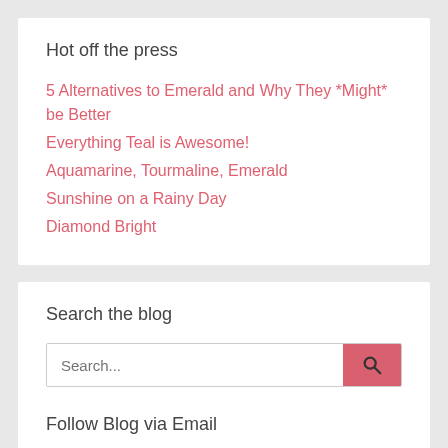Hot off the press
5 Alternatives to Emerald and Why They *Might* be Better
Everything Teal is Awesome!
Aquamarine, Tourmaline, Emerald
Sunshine on a Rainy Day
Diamond Bright
Search the blog
Search...
Follow Blog via Email